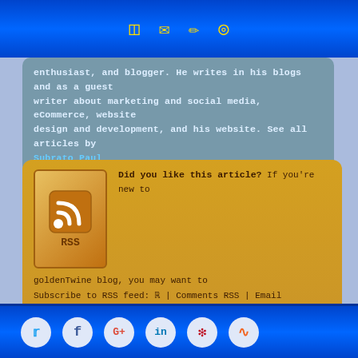Navigation icons: phone, email, edit, globe
enthusiast, and blogger. He writes in his blogs and as a guest writer about marketing and social media, eCommerce, website design and development, and his website. See all articles by Subrato Paul
[Figure (infographic): RSS subscription box with RSS icon, text 'Did you like this article? If you're new to goldenTwine blog, you may want to Subscribe to RSS feed: | Comments RSS | Email Subscription. Social Media: Twitter Facebook G+ LinkedIn Pinterest. Short Link: https://wp.me/pPMoR-Zv | Thanks for visiting!']
[Figure (screenshot): Amazon India Patanjali Products banner/link button]
Social media icons: Twitter, Facebook, Google+, LinkedIn, Pinterest, RSS